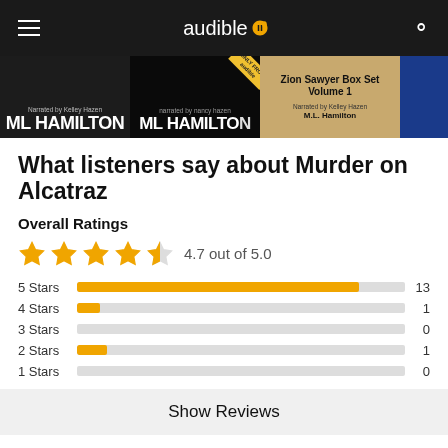audible
[Figure (screenshot): Book covers strip showing ML Hamilton audiobooks and Zion Sawyer Box Set Volume 1]
What listeners say about Murder on Alcatraz
Overall Ratings
[Figure (bar-chart): Star Ratings]
4.7 out of 5.0
Show Reviews